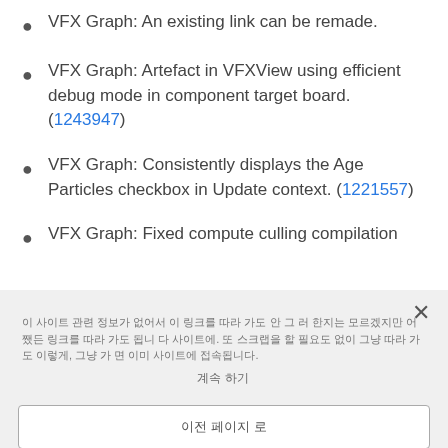VFX Graph: An existing link can be remade.
VFX Graph: Artefact in VFXView using efficient debug mode in component target board. (1243947)
VFX Graph: Consistently displays the Age Particles checkbox in Update context. (1221557)
VFX Graph: Fixed compute culling compilation
이 사이트 관련 정보가 없어서 이 링크를 따라 가도 안 그 러 한지는 모르겠지만 어쨌든 링크를 따라 가도 됩니 다 사이트에. 또 스크랩을 할 필요도 없이 그냥 따라 가도 이렇게, 그냥 가 면 이미 사이트에 접속됩니다.
계속 하기
이전 페이지 로